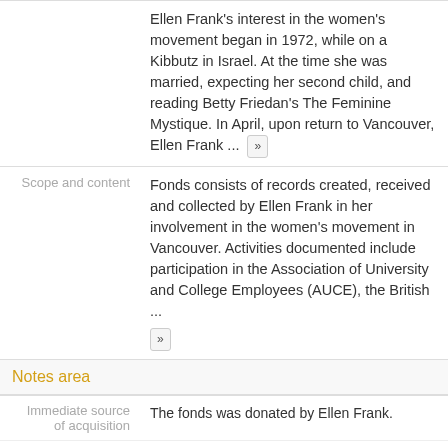Ellen Frank's interest in the women's movement began in 1972, while on a Kibbutz in Israel. At the time she was married, expecting her second child, and reading Betty Friedan's The Feminine Mystique. In April, upon return to Vancouver, Ellen Frank ...
Scope and content: Fonds consists of records created, received and collected by Ellen Frank in her involvement in the women's movement in Vancouver. Activities documented include participation in the Association of University and College Employees (AUCE), the British ...
Notes area
Immediate source of acquisition: The fonds was donated by Ellen Frank.
Arrangement: The materials were arranged by the Archivist.
Finding aids: Series descriptions and file lists are available.
Finding aid: f-82.pdf